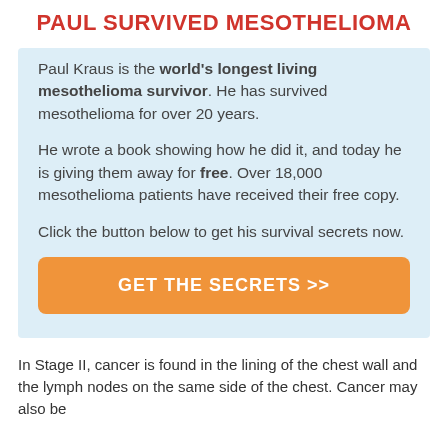PAUL SURVIVED MESOTHELIOMA
Paul Kraus is the world's longest living mesothelioma survivor. He has survived mesothelioma for over 20 years.
He wrote a book showing how he did it, and today he is giving them away for free. Over 18,000 mesothelioma patients have received their free copy.
Click the button below to get his survival secrets now.
[Figure (other): Orange call-to-action button reading GET THE SECRETS >>]
In Stage II, cancer is found in the lining of the chest wall and the lymph nodes on the same side of the chest. Cancer may also be